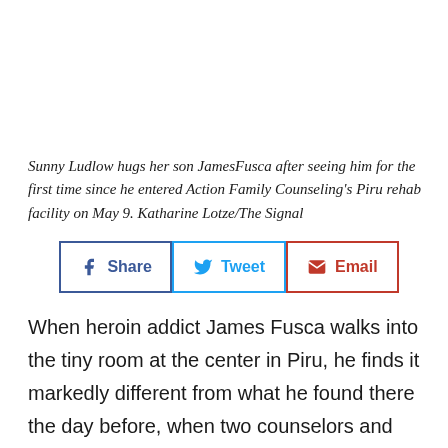Sunny Ludlow hugs her son JamesFusca after seeing him for the first time since he entered Action Family Counseling's Piru rehab facility on May 9. Katharine Lotze/The Signal
[Figure (other): Social sharing buttons: Share (Facebook), Tweet (Twitter), Email]
When heroin addict James Fusca walks into the tiny room at the center in Piru, he finds it markedly different from what he found there the day before, when two counselors and eight of his peers held him accountable for his bad behavior.